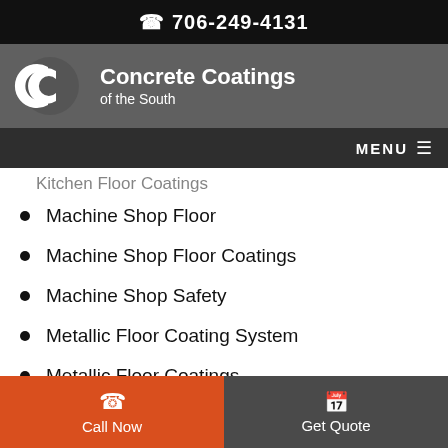706-249-4131
[Figure (logo): Concrete Coatings of the South logo with CC icon]
Kitchen Floor Coatings (partial)
Machine Shop Floor
Machine Shop Floor Coatings
Machine Shop Safety
Metallic Floor Coating System
Metallic Floor Coatings
Moisture Problems
Call Now | Get Quote